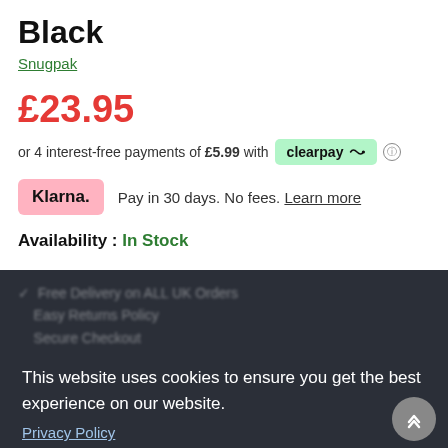Black
Snugpak
£23.95
or 4 interest-free payments of £5.99 with clearpay ⓘ
Klarna. Pay in 30 days. No fees. Learn more
Availability : In Stock
This website uses cookies to ensure you get the best experience on our website. Privacy Policy Accept